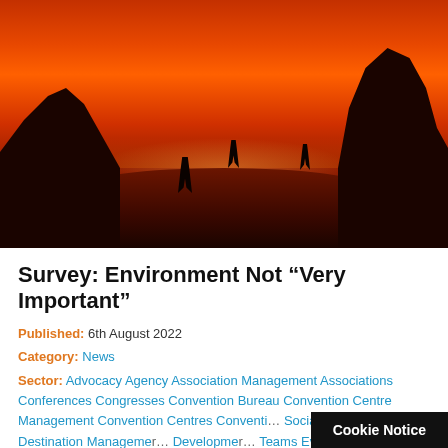[Figure (photo): Dramatic orange-red sky over a city skyline, viewed from rocky terrain with silhouettes of people standing on rocks. The sky is intensely orange, likely from wildfire smoke. Dark rock formations frame the left and right sides.]
Survey: Environment Not “Very Important”
Published: 6th August 2022
Category: News
Sector: Advocacy Agency Association Management Associations Conferences Congresses Convention Bureau Convention Centre Management Convention Centres Conventi… Social Responsibility Destination Managemer… Developmer… Teams Events Exhibition Cent…